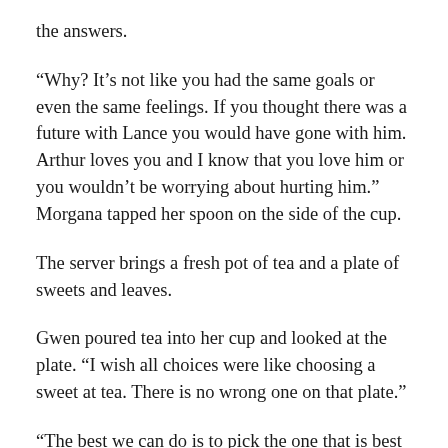the answers.
“Why? It’s not like you had the same goals or even the same feelings. If you thought there was a future with Lance you would have gone with him. Arthur loves you and I know that you love him or you wouldn’t be worrying about hurting him.” Morgana tapped her spoon on the side of the cup.
The server brings a fresh pot of tea and a plate of sweets and leaves.
Gwen poured tea into her cup and looked at the plate. “I wish all choices were like choosing a sweet at tea. There is no wrong one on that plate.”
“The best we can do is to pick the one that is best for us. Besides men and sweets are a lot alike, the outsides